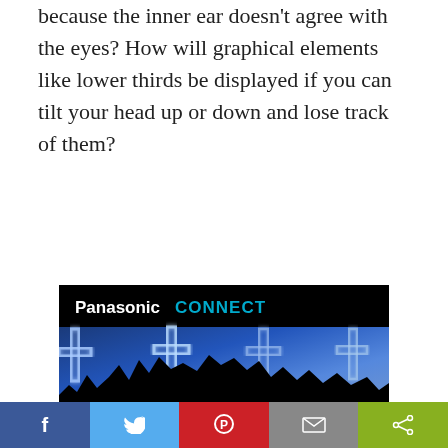because the inner ear doesn't agree with the eyes? How will graphical elements like lower thirds be displayed if you can tilt your head up or down and lose track of them?
[Figure (photo): Panasonic CONNECT advertisement showing a concert crowd with raised hands under blue cross-shaped lights, with a black header bar showing the Panasonic CONNECT logo and a black footer area.]
Social share bar with Facebook, Twitter, Pinterest, Email, and Share buttons